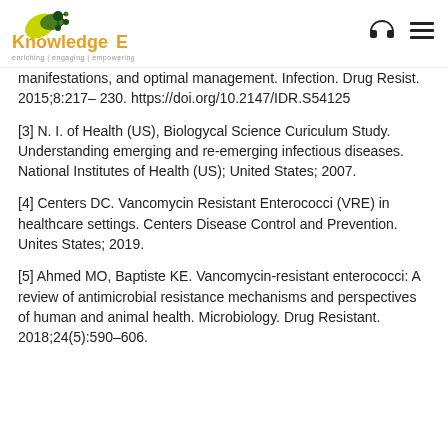KnowledgeE — enriching | engaging | empowering
[2] O'Driscoll T, Crank CW. Vancomycin-resistant Enterococcal infections: Epidemiology, clinical manifestations, and optimal management. Infection. Drug Resist. 2015;8:217– 230. https://doi.org/10.2147/IDR.S54125
[3] N. I. of Health (US), Biologycal Science Curiculum Study. Understanding emerging and re-emerging infectious diseases. National Institutes of Health (US); United States; 2007.
[4] Centers DC. Vancomycin Resistant Enterococci (VRE) in healthcare settings. Centers Disease Control and Prevention. Unites States; 2019.
[5] Ahmed MO, Baptiste KE. Vancomycin-resistant enterococci: A review of antimicrobial resistance mechanisms and perspectives of human and animal health. Microbiology. Drug Resistant. 2018;24(5):590–606.